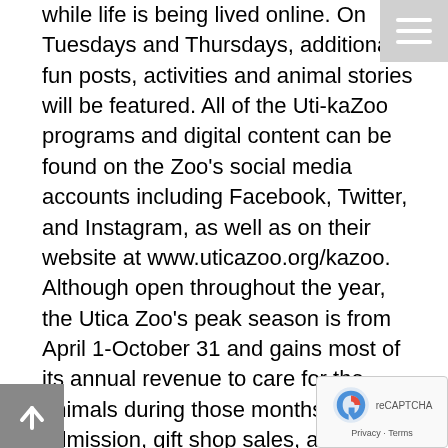while life is being lived online. On Tuesdays and Thursdays, additional fun posts, activities and animal stories will be featured. All of the Uti-kaZoo programs and digital content can be found on the Zoo's social media accounts including Facebook, Twitter, and Instagram, as well as on their website at www.uticazoo.org/kazoo.
Although open throughout the year, the Utica Zoo's peak season is from April 1-October 31 and gains most of its annual revenue to care for the animals during those months through admission, gift shop sales, animal adoptions/encounters, and events. The operating budget requires revenue at an average of $5000 per day to fund the current operational expenses such as staffing, animal diets for over 200 exotic and domestic animals, medicine/vitamins/supplements, hay and veterinary services as well as expenses such as electricity, heat, and more. With the zoo being closed and Spring events being postponed,